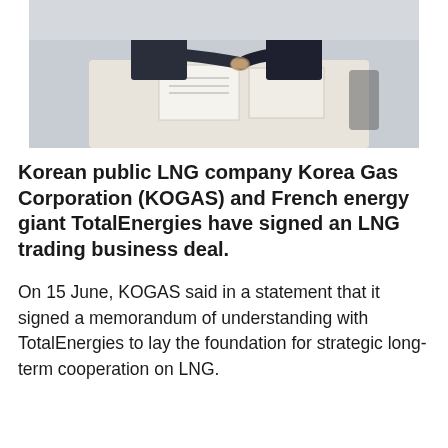[Figure (photo): Two men in dark suits shaking hands across a white conference table, with documents on the table, photographed from above/mid angle in a bright room.]
Korean public LNG company Korea Gas Corporation (KOGAS) and French energy giant TotalEnergies have signed an LNG trading business deal.
On 15 June, KOGAS said in a statement that it signed a memorandum of understanding with TotalEnergies to lay the foundation for strategic long-term cooperation on LNG.